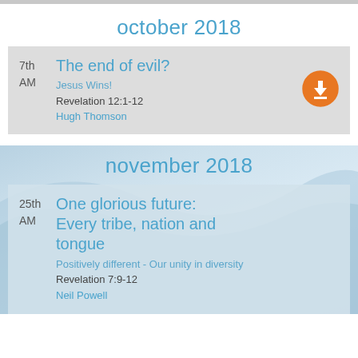october 2018
7th AM
The end of evil?
Jesus Wins!
Revelation 12:1-12
Hugh Thomson
november 2018
25th AM
One glorious future: Every tribe, nation and tongue
Positively different - Our unity in diversity
Revelation 7:9-12
Neil Powell